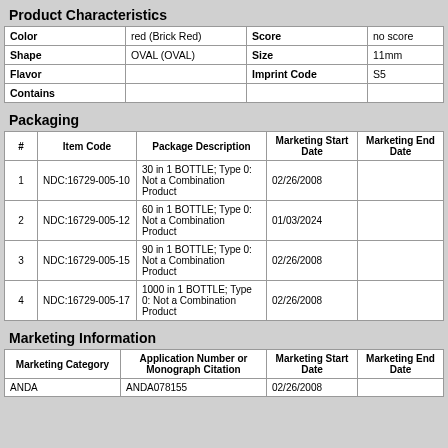Product Characteristics
| Color | red (Brick Red) | Score | no score |
| --- | --- | --- | --- |
| Shape | OVAL (OVAL) | Size | 11mm |
| Flavor |  | Imprint Code | S5 |
| Contains |  |  |  |
Packaging
| # | Item Code | Package Description | Marketing Start Date | Marketing End Date |
| --- | --- | --- | --- | --- |
| 1 | NDC:16729-005-10 | 30 in 1 BOTTLE; Type 0: Not a Combination Product | 02/26/2008 |  |
| 2 | NDC:16729-005-12 | 60 in 1 BOTTLE; Type 0: Not a Combination Product | 01/03/2024 |  |
| 3 | NDC:16729-005-15 | 90 in 1 BOTTLE; Type 0: Not a Combination Product | 02/26/2008 |  |
| 4 | NDC:16729-005-17 | 1000 in 1 BOTTLE; Type 0: Not a Combination Product | 02/26/2008 |  |
Marketing Information
| Marketing Category | Application Number or Monograph Citation | Marketing Start Date | Marketing End Date |
| --- | --- | --- | --- |
| ANDA | ANDA078155 | 02/26/2008 |  |